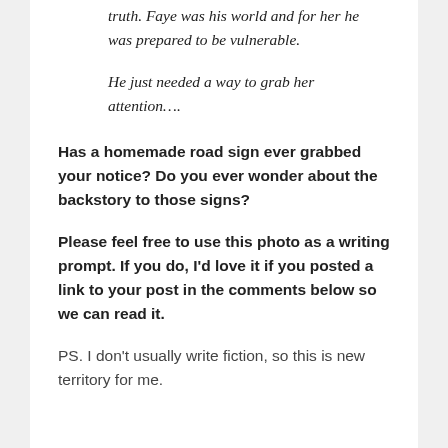truth. Faye was his world and for her he was prepared to be vulnerable.
He just needed a way to grab her attention….
Has a homemade road sign ever grabbed your notice? Do you ever wonder about the backstory to those signs?
Please feel free to use this photo as a writing prompt. If you do, I'd love it if you posted a link to your post in the comments below so we can read it.
PS. I don't usually write fiction, so this is new territory for me.